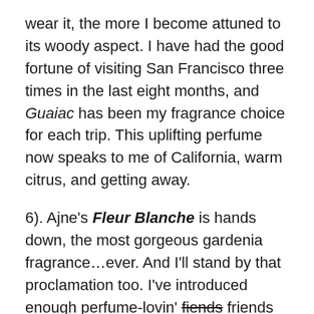wear it, the more I become attuned to its woody aspect. I have had the good fortune of visiting San Francisco three times in the last eight months, and Guaiac has been my fragrance choice for each trip. This uplifting perfume now speaks to me of California, warm citrus, and getting away.
6). Ajne's Fleur Blanche is hands down, the most gorgeous gardenia fragrance…ever. And I'll stand by that proclamation too. I've introduced enough perfume-lovin' fiends friends who go gaga over it to know that I'm not the only one who drools over this beauty. It's creamy and buttery, yet slightly smoky and woodsy, with a luscious hint of indoles. A common (and frequently